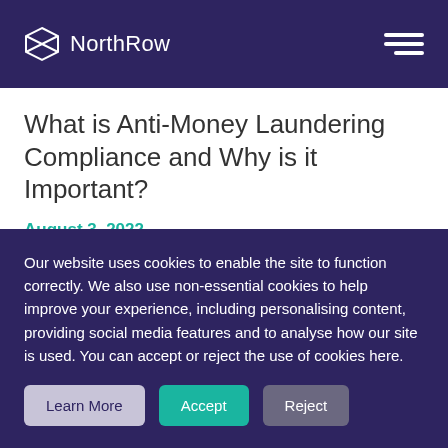NorthRow
What is Anti-Money Laundering Compliance and Why is it Important?
August 3, 2022
Money laundering is a form of financial crime where
Our website uses cookies to enable the site to function correctly. We also use non-essential cookies to help improve your experience, including personalising content, providing social media features and to analyse how our site is used. You can accept or reject the use of cookies here.
Learn More | Accept | Reject